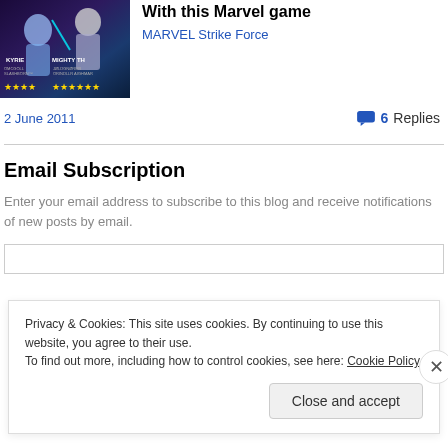[Figure (screenshot): Marvel Strike Force game promotional image with characters Valkyrie and Mighty Thor with star ratings]
With this Marvel game
MARVEL Strike Force
2 June 2011
6 Replies
Email Subscription
Enter your email address to subscribe to this blog and receive notifications of new posts by email.
Privacy & Cookies: This site uses cookies. By continuing to use this website, you agree to their use.
To find out more, including how to control cookies, see here: Cookie Policy
Close and accept